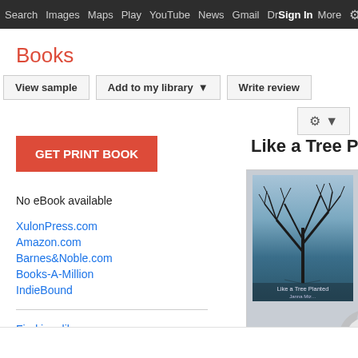Search  Images  Maps  Play  YouTube  News  Gmail  Drive  More  Sign In
Books
View sample | Add to my library ▼ | Write review
GET PRINT BOOK
No eBook available
XulonPress.com
Amazon.com
Barnes&Noble.com
Books-A-Million
IndieBound
Find in a library
All sellers »
Like a Tree Plan…
[Figure (photo): Book cover of 'Like a Tree Planted' showing a bare tree in winter by a body of water, with a page curl at the bottom right]
Janna…
Xulon…
Relig…
★★★
0 Rev…
Most… Chris… have… perio…
More